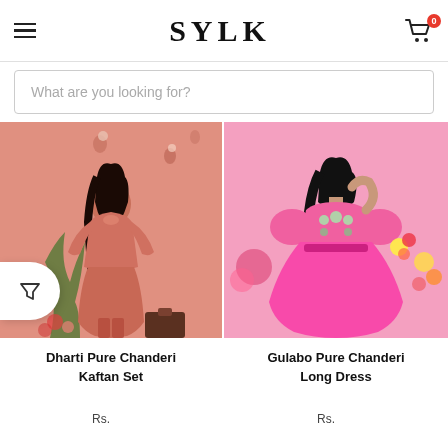SYLK - hamburger menu, cart with 0 items
What are you looking for?
[Figure (photo): Model wearing a coral/salmon coloured Pure Chanderi Kaftan Set, posing in front of a pink background with floral decorations and a potted plant]
[Figure (photo): Model wearing a hot pink Pure Chanderi Long Dress with puffed sleeves and floral embroidery, holding flowers, posed against a pink background]
Dharti Pure Chanderi Kaftan Set
Gulabo Pure Chanderi Long Dress